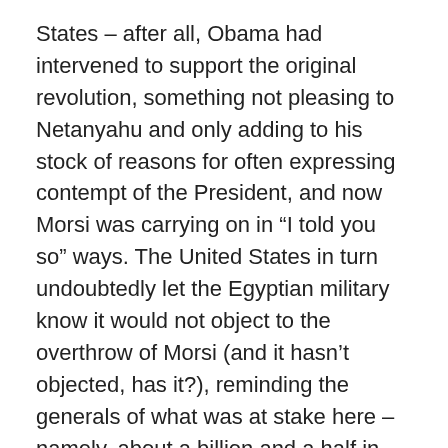States – after all, Obama had intervened to support the original revolution, something not pleasing to Netanyahu and only adding to his stock of reasons for often expressing contempt of the President, and now Morsi was carrying on in “I told you so” ways. The United States in turn undoubtedly let the Egyptian military know it would not object to the overthrow of Morsi (and it hasn’t objected, has it?), reminding the generals of what was at stake here – namely, about a billion and a half in annual bribes for keeping the government of Israel from complaining.
One suspects the CIA was active in stoking the fires of discontented Egyptians, handing out money and promises and encouragement to make the crowds larger and more aggressive. After all, that is just what the CIA does when it isn’t directly overthrowing someone’s government or